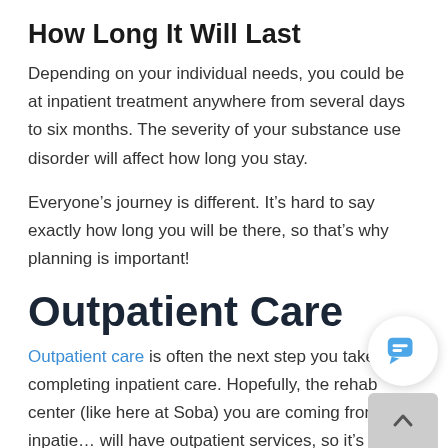How Long It Will Last
Depending on your individual needs, you could be at inpatient treatment anywhere from several days to six months. The severity of your substance use disorder will affect how long you stay.
Everyone’s journey is different. It’s hard to say exactly how long you will be there, so that’s why planning is important!
Outpatient Care
Outpatient care is often the next step you take after completing inpatient care. Hopefully, the rehab center (like here at Soba) you are coming from after inpatie… will have outpatient services, so it’s easier to make the…